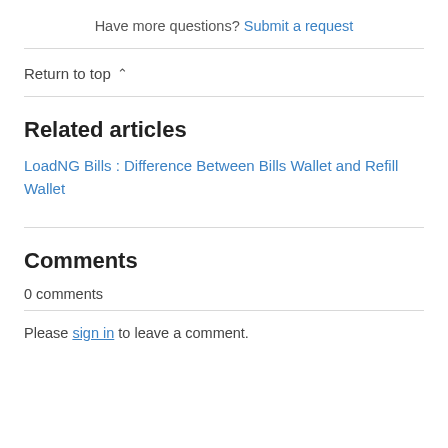Have more questions? Submit a request
Return to top ∧
Related articles
LoadNG Bills : Difference Between Bills Wallet and Refill Wallet
Comments
0 comments
Please sign in to leave a comment.